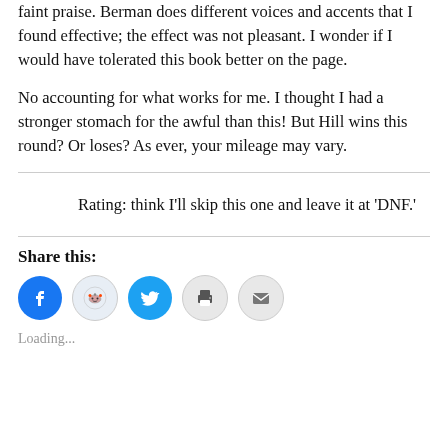faint praise. Berman does different voices and accents that I found effective; the effect was not pleasant. I wonder if I would have tolerated this book better on the page.
No accounting for what works for me. I thought I had a stronger stomach for the awful than this! But Hill wins this round? Or loses? As ever, your mileage may vary.
Rating: think I’ll skip this one and leave it at ‘DNF.’
Share this:
Loading...